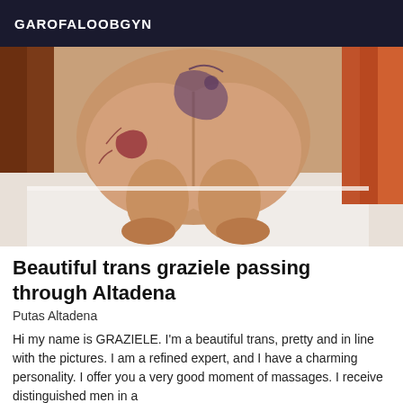GAROFALOOBGYN
[Figure (photo): A photograph showing a person posing on a white bed, viewed from behind, with tattoos visible on the back and hip area. Orange/red curtains visible in the background on the right side.]
Beautiful trans graziele passing through Altadena
Putas Altadena
Hi my name is GRAZIELE. I'm a beautiful trans, pretty and in line with the pictures. I am a refined expert, and I have a charming personality. I offer you a very good moment of massages. I receive distinguished men in a